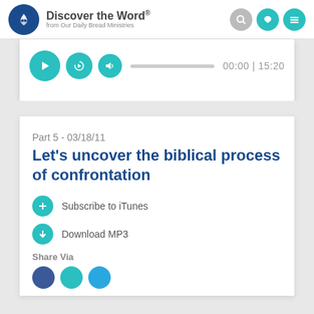Discover the Word. from Our Daily Bread Ministries
[Figure (screenshot): Audio player controls with play/pause/skip buttons, a progress bar, and time display showing 00:00 | 15:20]
Part 5 - 03/18/11
Let’s uncover the biblical process of confrontation
Subscribe to iTunes
Download MP3
Share Via